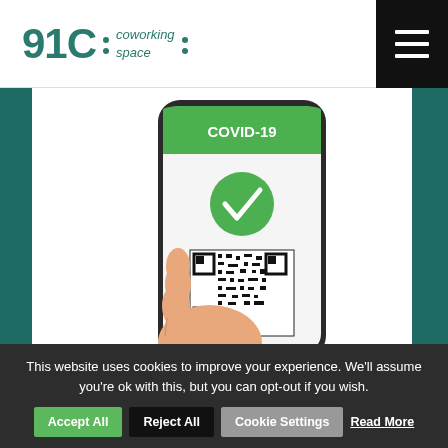91C : coworking space :
[Figure (illustration): Hand holding a smartphone displaying a COVID-19 green pass with a green banner reading COVID-19, a green checkmark circle, and a QR code. Background is teal/dark green.]
Con l'emanazione del DL n. 127, 21 settembre 2021, il Governo ha dato un'ulteriore spinta all'utilizzo della
This website uses cookies to improve your experience. We'll assume you're ok with this, but you can opt-out if you wish.
Accept All
Reject All
Cookie Settings
Read More